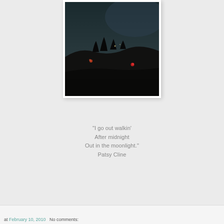[Figure (photo): Dark nighttime outdoor photo showing a dim landscape with a dark sky, silhouetted trees or bushes along a hillside, and small red and orange light spots visible in the scene.]
"I go out walkin' After midnight Out in the moonlight." Patsy Cline
at February 10, 2010   No comments: